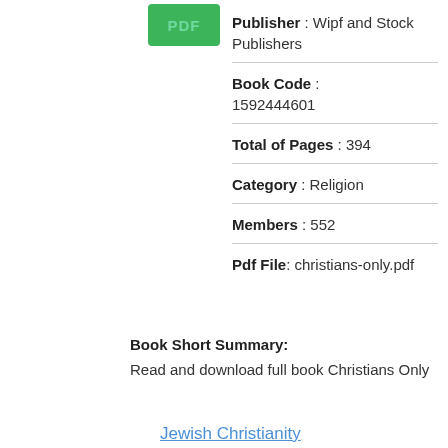[Figure (logo): Green PDF badge button]
Publisher : Wipf and Stock Publishers
Book Code : 1592444601
Total of Pages : 394
Category : Religion
Members : 552
Pdf File: christians-only.pdf
Book Short Summary:
Read and download full book Christians Only
Jewish Christianity